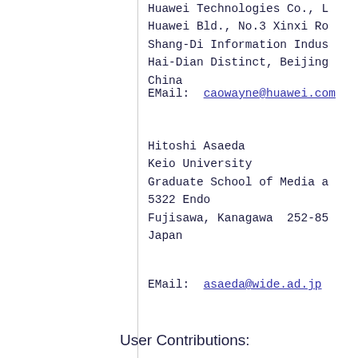Huawei Technologies Co., Ltd.
Huawei Bld., No.3 Xinxi Rd.,
Shang-Di Information Industry Base,
Hai-Dian Distinct, Beijing,
China
EMail:  caowayne@huawei.com
Hitoshi Asaeda
Keio University
Graduate School of Media a...
5322 Endo
Fujisawa, Kanagawa  252-85...
Japan
EMail:  asaeda@wide.ad.jp
User Contributions: